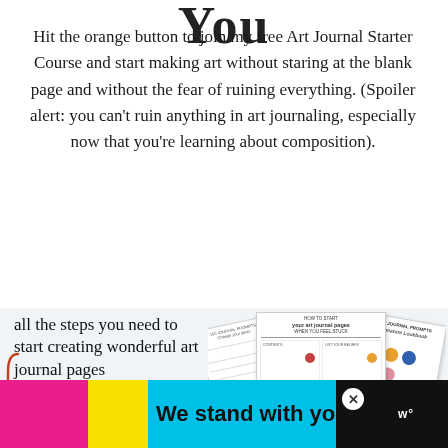You
Hit the orange button to join my free Art Journal Starter Course and start making art without staring at the blank page and without the fear of ruining everything. (Spoiler alert: you can’t ruin anything in art journaling, especially now that you’re learning about composition).
[Figure (illustration): Promotional image showing art journal worksheets and a tablet device with text 'all the steps you need to start creating wonderful art journal pages' alongside worksheet previews]
[Figure (infographic): Advertisement banner reading 'We stand with you.' on colorful pink, yellow, and cyan blocks on black background with close button and logo]